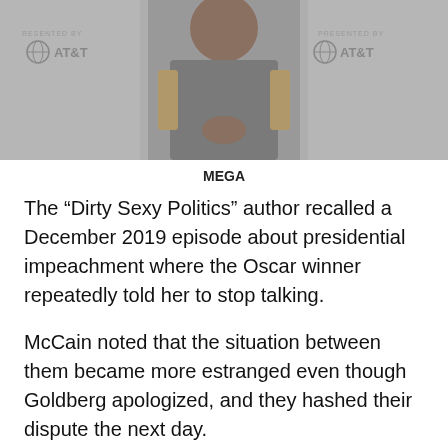[Figure (photo): Person in a gray suit with gold accents holding awards, AT&T branding visible on both sides reading 'PRESENTED BY AT&T']
MEGA
The “Dirty Sexy Politics” author recalled a December 2019 episode about presidential impeachment where the Oscar winner repeatedly told her to stop talking.
McCain noted that the situation between them became more estranged even though Goldberg apologized, and they hashed their dispute the next day.
The “Good Morning America” star does not regret leaving. She believes her senior counterpart